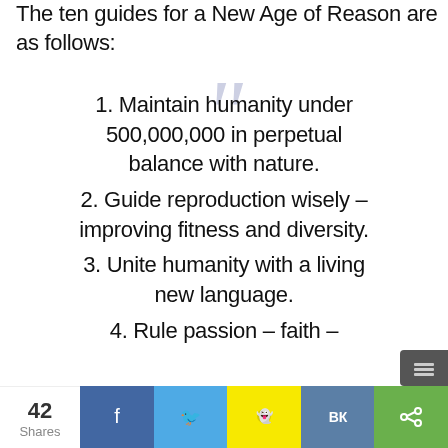The ten guides for a New Age of Reason are as follows:
1. Maintain humanity under 500,000,000 in perpetual balance with nature.
2. Guide reproduction wisely – improving fitness and diversity.
3. Unite humanity with a living new language.
4. Rule passion – faith –
42 Shares  f  [twitter]  [snapchat]  VK  [share]